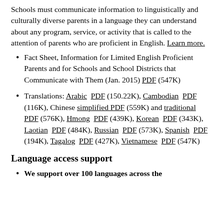Schools must communicate information to linguistically and culturally diverse parents in a language they can understand about any program, service, or activity that is called to the attention of parents who are proficient in English. Learn more.
Fact Sheet, Information for Limited English Proficient Parents and for Schools and School Districts that Communicate with Them (Jan. 2015) PDF (547K)
Translations: Arabic PDF (150.22K), Cambodian PDF (116K), Chinese simplified PDF (559K) and traditional PDF (576K), Hmong PDF (439K), Korean PDF (343K), Laotian PDF (484K), Russian PDF (573K), Spanish PDF (194K), Tagalog PDF (427K), Vietnamese PDF (547K)
Language access support
We support over 100 languages across the